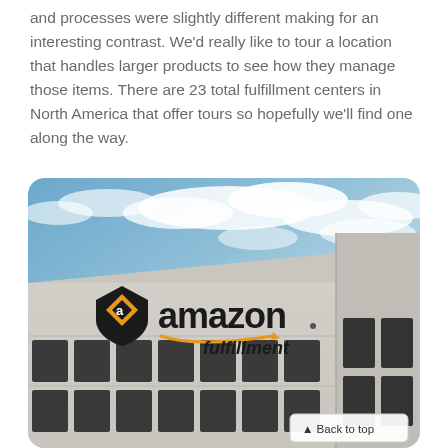and processes were slightly different making for an interesting contrast. We'd really like to tour a location that handles larger products to see how they manage those items. There are 23 total fulfillment centers in North America that offer tours so hopefully we'll find one along the way.
[Figure (photo): Exterior photo of an Amazon Fulfillment center building with the Amazon Fulfillment logo on the facade, large dark windows/panels, light gray building exterior, and a cloudy blue sky in the background. A 'Back to top' button overlay is visible in the bottom right corner.]